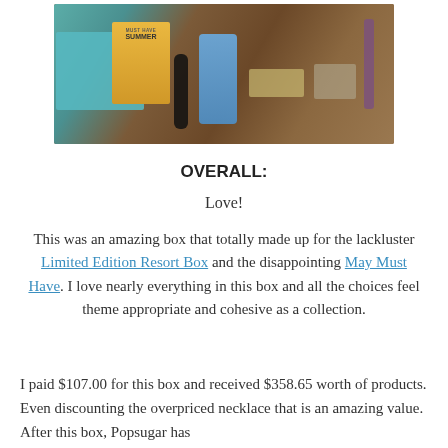[Figure (photo): Overhead photo of subscription box contents on a wooden surface, including a teal fabric, a yellow book titled 'Must Have Summer', a black tube, a blue glass bottle, jewelry, and other items arranged on a dark wood surface.]
OVERALL:
Love!
This was an amazing box that totally made up for the lackluster Limited Edition Resort Box and the disappointing May Must Have. I love nearly everything in this box and all the choices feel theme appropriate and cohesive as a collection.
I paid $107.00 for this box and received $358.65 worth of products. Even discounting the overpriced necklace that is an amazing value. After this box, Popsugar has